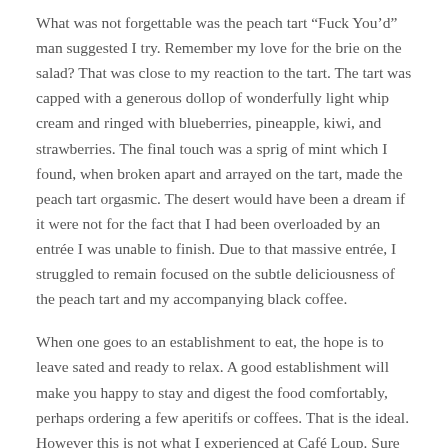What was not forgettable was the peach tart “Fuck You’d” man suggested I try. Remember my love for the brie on the salad? That was close to my reaction to the tart. The tart was capped with a generous dollop of wonderfully light whip cream and ringed with blueberries, pineapple, kiwi, and strawberries. The final touch was a sprig of mint which I found, when broken apart and arrayed on the tart, made the peach tart orgasmic. The desert would have been a dream if it were not for the fact that I had been overloaded by an entrée I was unable to finish. Due to that massive entrée, I struggled to remain focused on the subtle deliciousness of the peach tart and my accompanying black coffee.
When one goes to an establishment to eat, the hope is to leave sated and ready to relax. A good establishment will make you happy to stay and digest the food comfortably, perhaps ordering a few aperitifs or coffees. That is the ideal. However this is not what I experienced at Café Loup. Sure there were some high notes, but by the time I got half way through my desert I was already feeling the itch to skedaddle. Nothing about what I had experienced left me feeling satisfied. I felt bloated and disappointed. By the food on both accounts, by the lack of havoc on the second account.